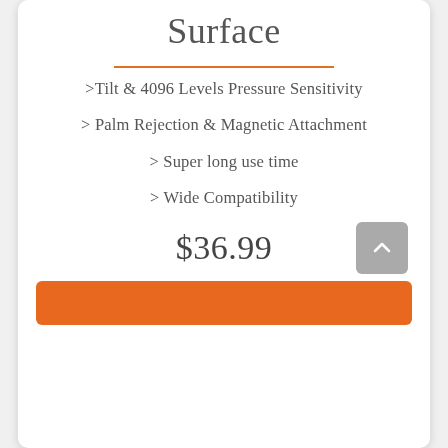Surface
>Tilt & 4096 Levels Pressure Sensitivity
> Palm Rejection & Magnetic Attachment
> Super long use time
> Wide Compatibility
$36.99